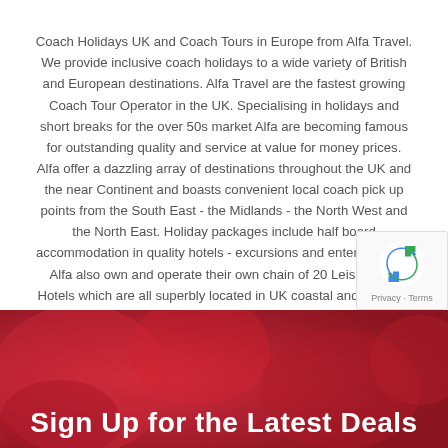Coach Holidays UK and Coach Tours in Europe from Alfa Travel. We provide inclusive coach holidays to a wide variety of British and European destinations. Alfa Travel are the fastest growing Coach Tour Operator in the UK. Specialising in holidays and short breaks for the over 50s market Alfa are becoming famous for outstanding quality and service at value for money prices. Alfa offer a dazzling array of destinations throughout the UK and the near Continent and boasts convenient local coach pick up points from the South East - the Midlands - the North West and the North East. Holiday packages include half board accommodation in quality hotels - excursions and entertainment. Alfa also own and operate their own chain of 20 Leisureplex Hotels which are all superbly located in UK coastal and lochside locations.
[Figure (photo): Red/crimson banner background with blurred floral or abstract imagery]
Sign Up for the Latest Deals
[Figure (logo): reCAPTCHA badge with Google reCAPTCHA logo and Privacy/Terms links]